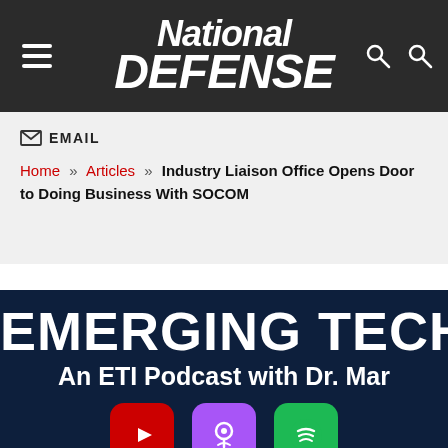National DEFENSE
EMAIL
Home » Articles » Industry Liaison Office Opens Door to Doing Business With SOCOM
EMERGING TECH HC
An ETI Podcast with Dr. Mar
[Figure (logo): YouTube, Apple Podcasts, and Spotify podcast platform icons]